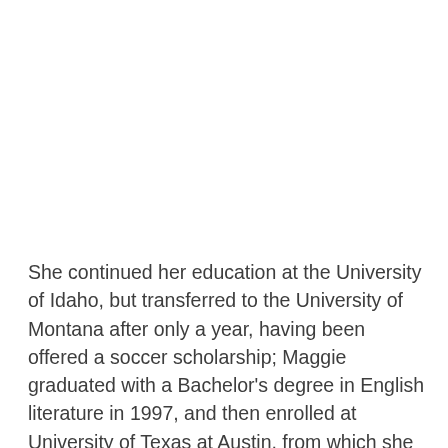She continued her education at the University of Idaho, but transferred to the University of Montana after only a year, having been offered a soccer scholarship; Maggie graduated with a Bachelor's degree in English literature in 1997, and then enrolled at University of Texas at Austin, from which she